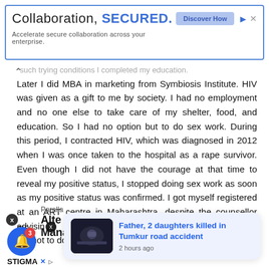[Figure (screenshot): Advertisement banner for a collaboration security product: 'Collaboration, SECURED.' with 'Discover How' button, blue border]
such trying conditions I completed my education. Later I did MBA in marketing from Symbiosis Institute. HIV was given as a gift to me by society. I had no employment and no one else to take care of my shelter, food, and education. So I had no option but to do sex work. During this period, I contracted HIV, which was diagnosed in 2012 when I was once taken to the hospital as a rape survivor. Even though I did not have the courage at that time to reveal my positive status, I stopped doing sex work as soon as my positive status was confirmed. I got myself registered at an ART centre in Maharashtra, despite the counsellor advising me not to do … ms.
[Figure (screenshot): News popup card: thumbnail of road accident scene, headline 'Father, 2 daughters killed in Tumkur road accident', timestamp '2 hours ago']
Paralla Alte Management
STIGMA